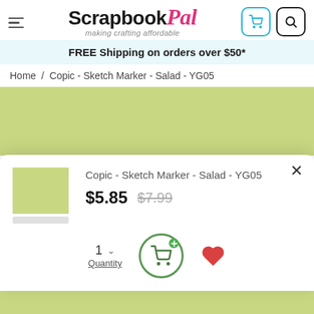ScrapbookPal — making crafting affordable
FREE Shipping on orders over $50*
Home / Copic - Sketch Marker - Salad - YG05
[Figure (photo): Product color swatch area showing light yellow-green (YG05 Salad) background]
Copic - Sketch Marker - Salad - YG05
$5.85  $7.99
1 Quantity